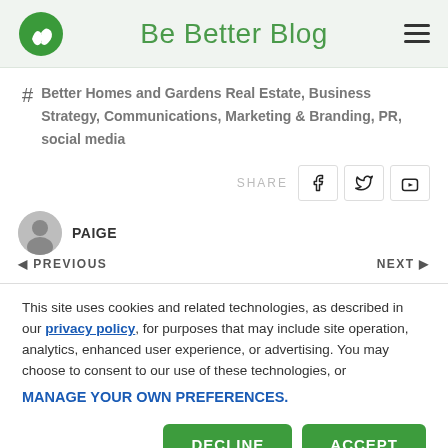Be Better Blog
Better Homes and Gardens Real Estate, Business Strategy, Communications, Marketing & Branding, PR, social media
SHARE
PAIGE
PREVIOUS     NEXT
This site uses cookies and related technologies, as described in our privacy policy, for purposes that may include site operation, analytics, enhanced user experience, or advertising. You may choose to consent to our use of these technologies, or MANAGE YOUR OWN PREFERENCES.